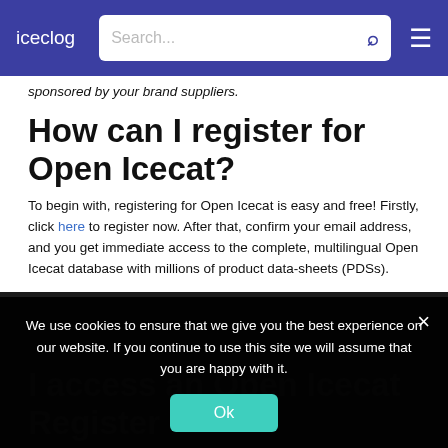iceclog — navigation bar with search
sponsored by your brand suppliers.
How can I register for Open Icecat?
To begin with, registering for Open Icecat is easy and free! Firstly, click here to register now. After that, confirm your email address, and you get immediate access to the complete, multilingual Open Icecat database with millions of product data-sheets (PDSs).
I did not receive a confirmation email, what now?
We use cookies to ensure that we give you the best experience on our website. If you continue to use this site we will assume that you are happy with it.